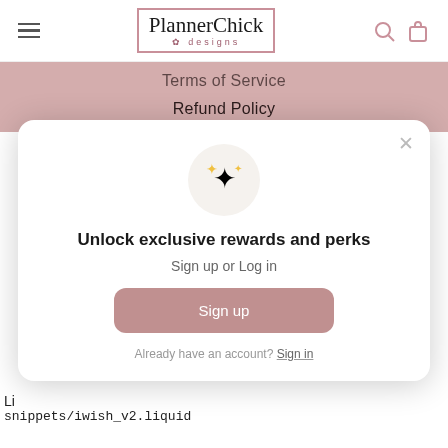PlannerChick designs [logo with hamburger menu, search and bag icons]
Terms of Service
Refund Policy
[Figure (screenshot): Modal popup with sparkle icon, title 'Unlock exclusive rewards and perks', 'Sign up or Log in' text, a pink Sign up button, and 'Already have an account? Sign in' link. Close X button in top right.]
Li
snippets/iwish_v2.liquid